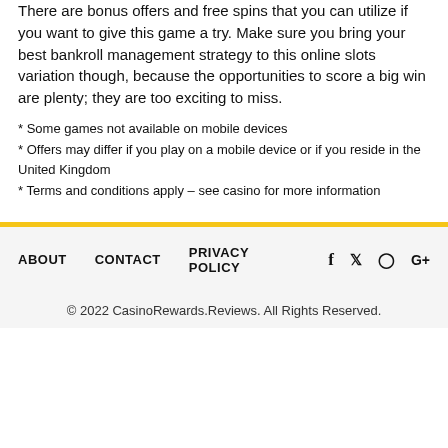There are bonus offers and free spins that you can utilize if you want to give this game a try. Make sure you bring your best bankroll management strategy to this online slots variation though, because the opportunities to score a big win are plenty; they are too exciting to miss.
* Some games not available on mobile devices
* Offers may differ if you play on a mobile device or if you reside in the United Kingdom
* Terms and conditions apply – see casino for more information
ABOUT  CONTACT  PRIVACY POLICY  [social icons]  © 2022 CasinoRewards.Reviews. All Rights Reserved.